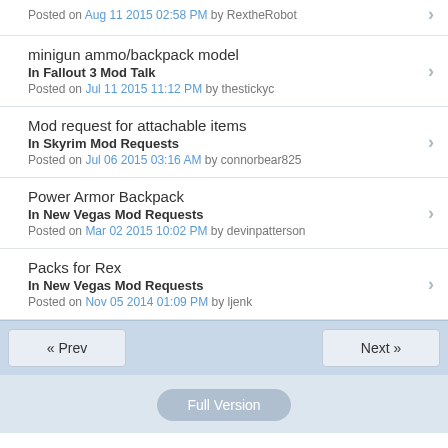Posted on Aug 11 2015 02:58 PM by RextheRobot
minigun ammo/backpack model
In Fallout 3 Mod Talk
Posted on Jul 11 2015 11:12 PM by thestickyc
Mod request for attachable items
In Skyrim Mod Requests
Posted on Jul 06 2015 03:16 AM by connorbear825
Power Armor Backpack
In New Vegas Mod Requests
Posted on Mar 02 2015 10:02 PM by devinpatterson
Packs for Rex
In New Vegas Mod Requests
Posted on Nov 05 2014 01:09 PM by ljenk
« Prev    Next »
Full Version
Page loaded in: 2.296 seconds